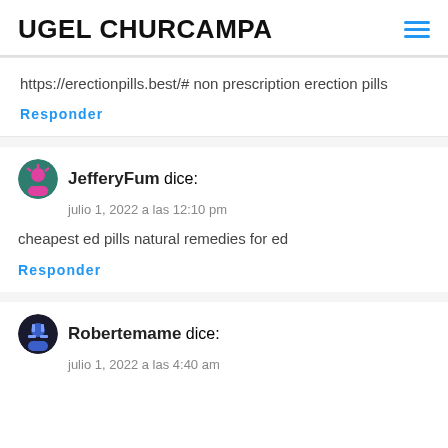UGEL CHURCAMPA
https://erectionpills.best/# non prescription erection pills
Responder
JefferyFum dice:
julio 1, 2022 a las 12:10 pm
cheapest ed pills natural remedies for ed
Responder
Robertemame dice:
julio 1, 2022 a las 4:40 am